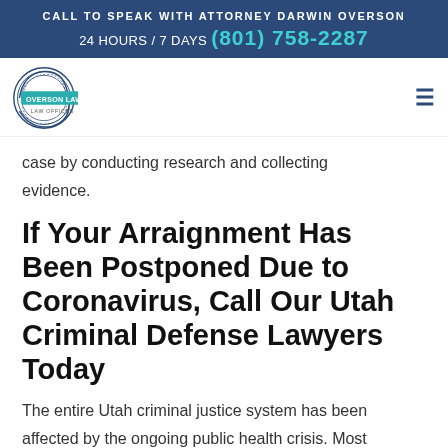CALL TO SPEAK WITH ATTORNEY DARWIN OVERSON
24 HOURS / 7 DAYS  (801) 758-2287
[Figure (logo): Overson Law, PLLC Law Offices circular logo with teal banner]
case by conducting research and collecting evidence.
If Your Arraignment Has Been Postponed Due to Coronavirus, Call Our Utah Criminal Defense Lawyers Today
The entire Utah criminal justice system has been affected by the ongoing public health crisis. Most